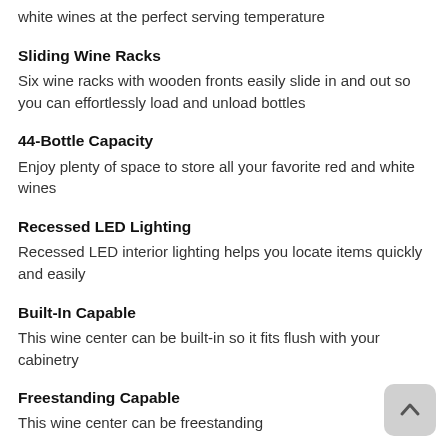white wines at the perfect serving temperature
Sliding Wine Racks
Six wine racks with wooden fronts easily slide in and out so you can effortlessly load and unload bottles
44-Bottle Capacity
Enjoy plenty of space to store all your favorite red and white wines
Recessed LED Lighting
Recessed LED interior lighting helps you locate items quickly and easily
Built-In Capable
This wine center can be built-in so it fits flush with your cabinetry
Freestanding Capable
This wine center can be freestanding
Digital Temperature Controls
Upfront digital temperature controls are easy to access and let you store items anywhere between 43 and 62 F